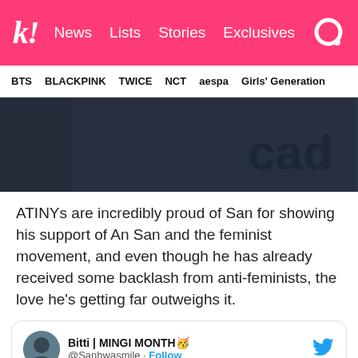Koreaboo | News   Lists   Stories   Exclusives
BTS   BLACKPINK   TWICE   NCT   aespa   Girls' Generation
[Figure (photo): Close-up of dark navy fabric/sweatshirt with partial embroidered text reading 'cad']
ATINYs are incredibly proud of San for showing his support of An San and the feminist movement, and even though he has already received some backlash from anti-feminists, the love he's getting far outweighs it.
Bitti | MINGI MONTH🥳 @Sanhwasmile · Follow
Are you proud of choi san from ateez?